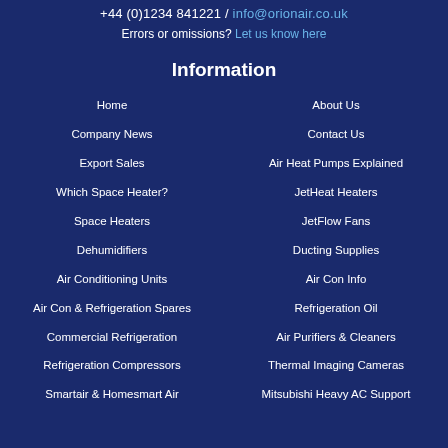+44 (0)1234 841221 / info@orionair.co.uk
Errors or omissions? Let us know here
Information
Home
About Us
Company News
Contact Us
Export Sales
Air Heat Pumps Explained
Which Space Heater?
JetHeat Heaters
Space Heaters
JetFlow Fans
Dehumidifiers
Ducting Supplies
Air Conditioning Units
Air Con Info
Air Con & Refrigeration Spares
Refrigeration Oil
Commercial Refrigeration
Air Purifiers & Cleaners
Refrigeration Compressors
Thermal Imaging Cameras
Smartair & Homesmart Air
Mitsubishi Heavy AC Support